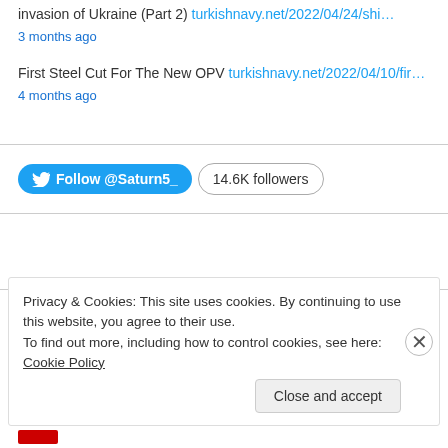invasion of Ukraine (Part 2) turkishnavy.net/2022/04/24/shi…
3 months ago
First Steel Cut For The New OPV turkishnavy.net/2022/04/10/fir…
4 months ago
[Figure (screenshot): Twitter Follow @Saturn5_ button with 14.6K followers badge]
Privacy & Cookies: This site uses cookies. By continuing to use this website, you agree to their use.
To find out more, including how to control cookies, see here: Cookie Policy
Close and accept